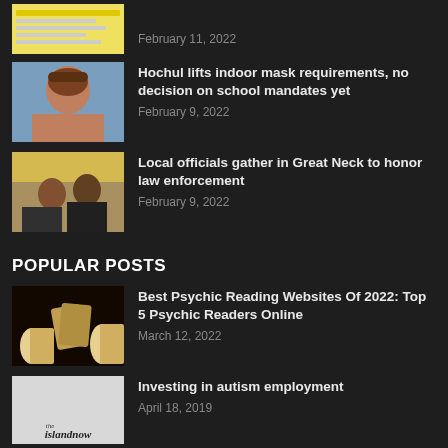February 11, 2022
[Figure (screenshot): Thumbnail of a document/spreadsheet with yellow highlighted text, partially visible]
Hochul lifts indoor mask requirements, no decision on school mandates yet — February 9, 2022
[Figure (photo): Photo of a woman with brown hair looking at camera, light blue background]
Local officials gather in Great Neck to honor law enforcement — February 9, 2022
[Figure (photo): Photo of two people in dark winter coats outdoors with a yellow canopy]
POPULAR POSTS
Best Psychic Reading Websites Of 2022: Top 5 Psychic Readers Online — March 12, 2022
[Figure (photo): Dark photo of hands holding tarot/playing cards with candles in the background]
Investing in autism employment — April 18, 2019
[Figure (logo): The Island Now logo on light gray background]